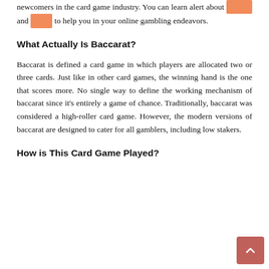newcomers in the card game industry. You can learn alert about [redacted] and [redacted] to help you in your online gambling endeavors.
What Actually Is Baccarat?
Baccarat is defined a card game in which players are allocated two or three cards. Just like in other card games, the winning hand is the one that scores more. No single way to define the working mechanism of baccarat since it’s entirely a game of chance. Traditionally, baccarat was considered a high-roller card game. However, the modern versions of baccarat are designed to cater for all gamblers, including low stakers.
How is This Card Game Played?